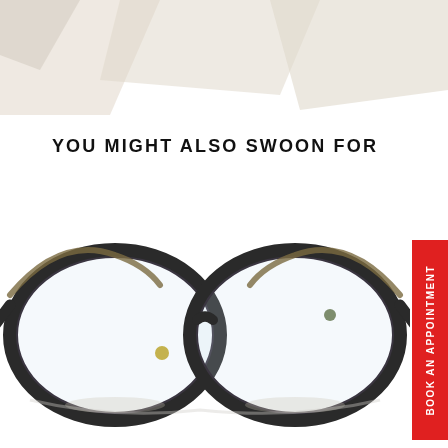[Figure (illustration): Decorative background shapes in beige/tan color in the top portion of the page]
YOU MIGHT ALSO SWOON FOR
[Figure (photo): A pair of cat-eye style glasses frames with dark tortoiseshell/marbled pattern, photographed on a white background]
BOOK AN APPOINTMENT